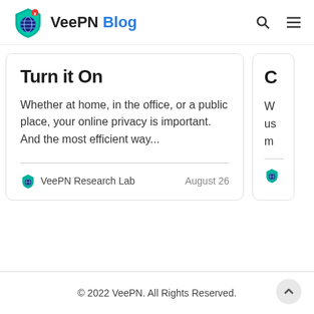VeePN Blog
Turn it On
Whether at home, in the office, or a public place, your online privacy is important.  And the most efficient way...
VeePN Research Lab    August 26
© 2022 VeePN. All Rights Reserved.